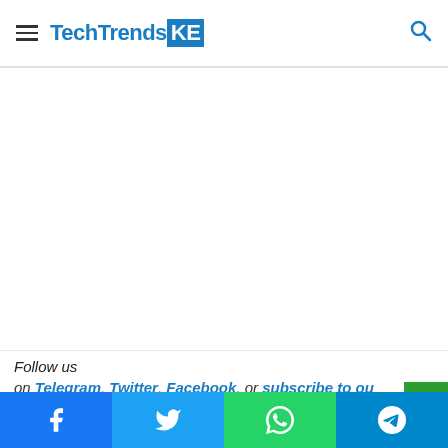TechTrendsKE
[Figure (other): White advertisement/content area below header]
Follow us
on Telegram, Twitter, Facebook, or subscribe to our
Social share bar: Facebook, Twitter, WhatsApp, Telegram